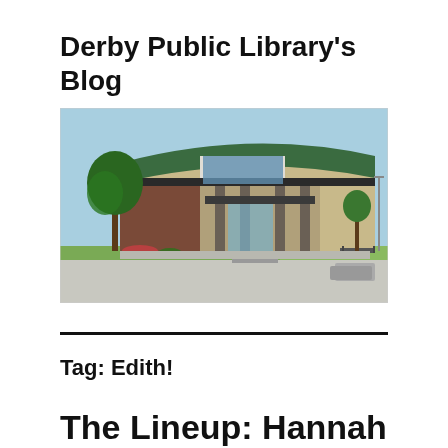Derby Public Library's Blog
[Figure (photo): Exterior photograph of Derby Public Library building, showing a modern single-story structure with a curved green metal roof, brick and stucco facade, large glass windows at entrance, and trees in front under a blue sky.]
Tag: Edith!
The Lineup: Hannah